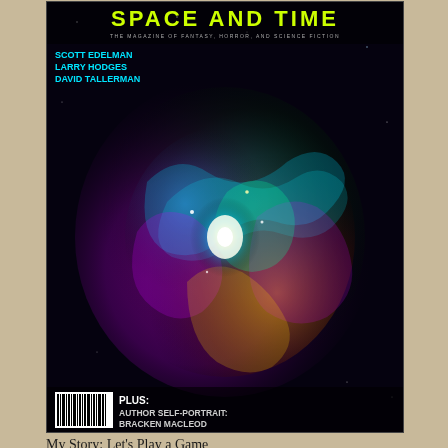[Figure (photo): Cover of Space and Time magazine featuring colorful nebula/galaxy image. Title 'SPACE AND TIME' in yellow-green, authors Scott Edelman, Larry Hodges, David Tallerman listed. Plus: Author Self-Portrait: Bracken MacLeod at bottom with barcode.]
My Story: Let's Play a Game
Grandma's Leather Sofa
[Figure (photo): Cover of book 'Grandma's Leather Sofa' by Shannon Lawrence. Blue background with illustrated leather sofa and window with mountain view. Cursive title text.]
[Figure (photo): Dark book cover partially visible on right side with white text describing holiday horror/thriller stories. Author photo of woman in dark jacket.]
Amazon Paperback (US--links for other Publications tab)
Universal Link (this will take you to a retailer you get it from)
Finally, our local library district puts on Authors. Sadly, this year they had to m had us do something called a Book Bu why people should buy our book. Not wracking to do, but I appreciate the op you can see what a dork I am.